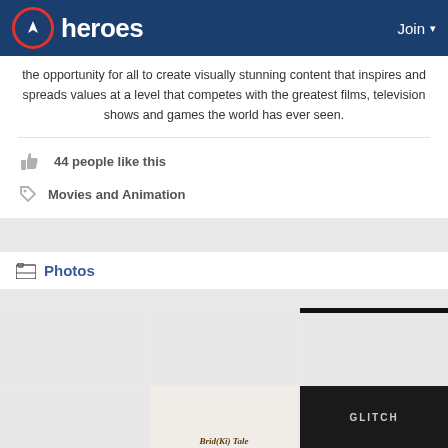heroes | Join
the opportunity for all to create visually stunning content that inspires and spreads values at a level that competes with the greatest films, television shows and games the world has ever seen.
44 people like this
Movies and Animation
Photos
[Figure (photo): Three placeholder photo thumbnails in a grid (first row)]
[Figure (photo): Three photo thumbnails in a grid (second row): empty cell, food/bread image with text overlay, dark cell with glitch-style text]